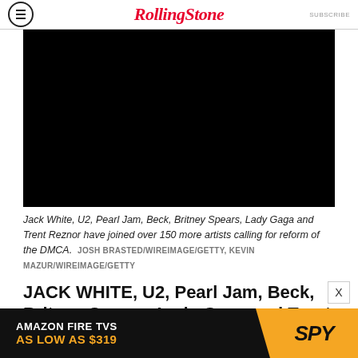Rolling Stone  SUBSCRIBE
[Figure (photo): Black/dark photo of musicians including Jack White, U2, Pearl Jam, Beck, Britney Spears, Lady Gaga and Trent Reznor]
Jack White, U2, Pearl Jam, Beck, Britney Spears, Lady Gaga and Trent Reznor have joined over 150 more artists calling for reform of the DMCA.  JOSH BRASTED/WIREIMAGE/GETTY, KEVIN MAZUR/WIREIMAGE/GETTY
JACK WHITE, U2, Pearl Jam, Beck, Britney Spears, Lady Gaga and Trent Reznor have joined
[Figure (other): Advertisement: AMAZON FIRE TVS AS LOW AS $319 — SPY]